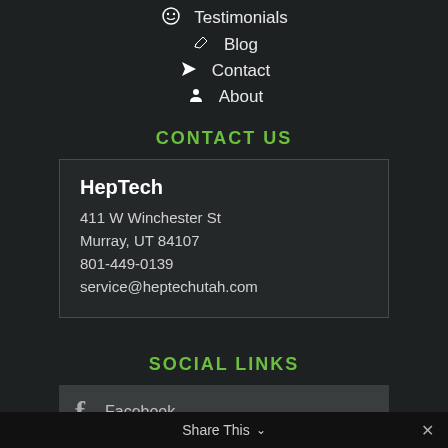Testimonials
Blog
Contact
About
CONTACT US
HepTech
411 W Winchester St
Murray, UT 84107
801-449-0139
service@heptechutah.com
SOCIAL LINKS
Facebook
Share This